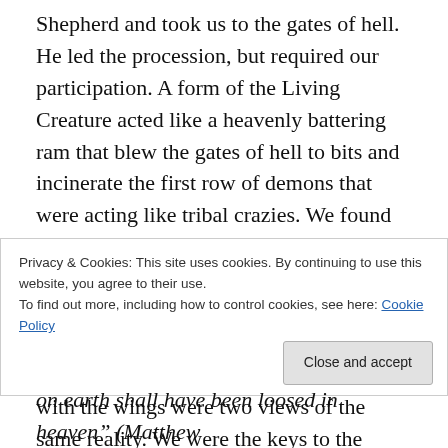Shepherd and took us to the gates of hell. He led the procession, but required our participation. A form of the Living Creature acted like a heavenly battering ram that blew the gates of hell to bits and incinerate the first row of demons that were acting like tribal crazies. We found out after our divine encounter that the demon with the “Assignment of Death” for my pastor was burnt up when we stormed the gates of hell. This heavenly battering ram with the wings and all of us with the wings were two views of the same reality. We were the keys to the kingdom of
Privacy & Cookies: This site uses cookies. By continuing to use this website, you agree to their use.
To find out more, including how to control cookies, see here: Cookie Policy
on earth shall have been loosed in heaven” (Matthew